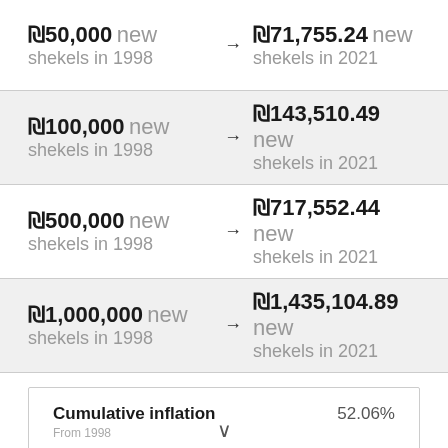| From (1998) |  | To (2021) |
| --- | --- | --- |
| ₪50,000 new shekels in 1998 | → | ₪71,755.24 new shekels in 2021 |
| ₪100,000 new shekels in 1998 | → | ₪143,510.49 new shekels in 2021 |
| ₪500,000 new shekels in 1998 | → | ₪717,552.44 new shekels in 2021 |
| ₪1,000,000 new shekels in 1998 | → | ₪1,435,104.89 new shekels in 2021 |
Cumulative inflation    52.06%
From 1998